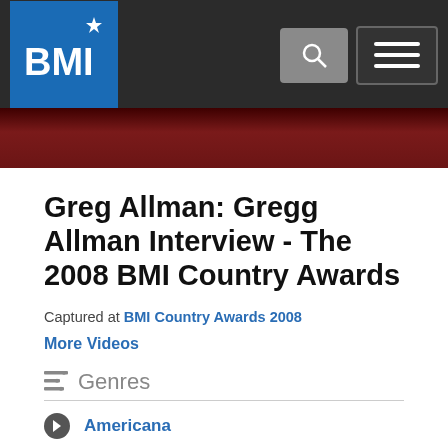BMI
[Figure (screenshot): Cropped hero image strip with dark red/maroon background, partially visible BMI event signage]
Greg Allman: Gregg Allman Interview - The 2008 BMI Country Awards
Captured at BMI Country Awards 2008
More Videos
Genres
Americana
Blues
Christian